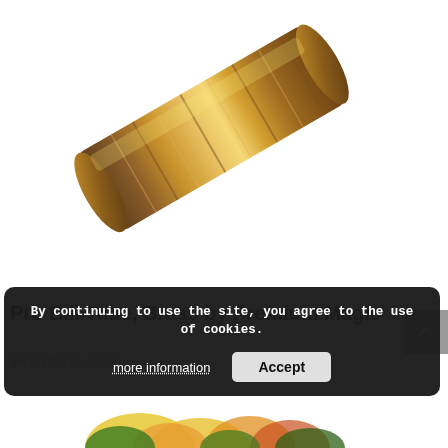[Figure (photo): A brass cylindrical tube (Pro Bill Tube) photographed at an angle on white background, showing metallic golden-brown finish with ridged surface]
Pro Bill Tube, Brass by Premium Magic
$47.18 inc. GST
By continuing to use the site, you agree to the use of cookies.
[Figure (photo): Partial view of colorful flower (yellow, orange, green) at the bottom of the page]